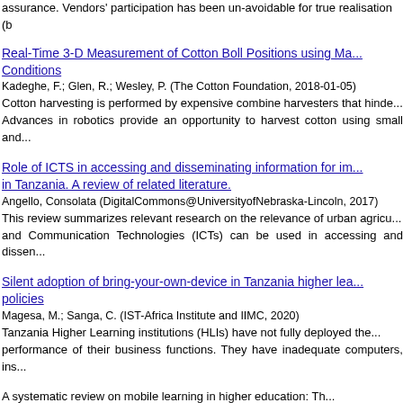assurance. Vendors' participation has been un-avoidable for true realisation (b
Real-Time 3-D Measurement of Cotton Boll Positions using Ma... Conditions
Kadeghe, F.; Glen, R.; Wesley, P. (The Cotton Foundation, 2018-01-05)
Cotton harvesting is performed by expensive combine harvesters that hinde... Advances in robotics provide an opportunity to harvest cotton using small and...
Role of ICTS in accessing and disseminating information for im... in Tanzania. A review of related literature.
Angello, Consolata (DigitalCommons@UniversityofNebraska-Lincoln, 2017)
This review summarizes relevant research on the relevance of urban agricu... and Communication Technologies (ICTs) can be used in accessing and dissen...
Silent adoption of bring-your-own-device in Tanzania higher lea... policies
Magesa, M.; Sanga, C. (IST-Africa Institute and IIMC, 2020)
Tanzania Higher Learning institutions (HLIs) have not fully deployed the... performance of their business functions. They have inadequate computers, ins...
A systematic review on mobile learning in higher education: Th...